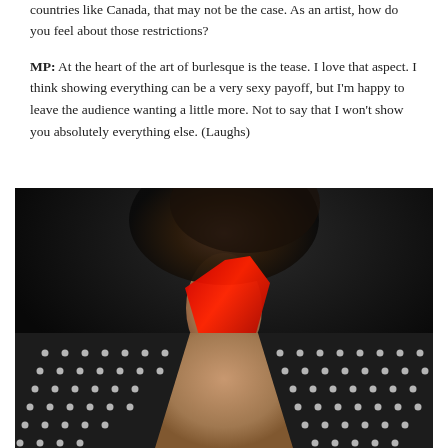countries like Canada, that may not be the case. As an artist, how do you feel about those restrictions?
MP: At the heart of the art of burlesque is the tease. I love that aspect. I think showing everything can be a very sexy payoff, but I'm happy to leave the audience wanting a little more. Not to say that I won't show you absolutely everything else. (Laughs)
[Figure (photo): Close-up photo of a bearded man from the chin down, wearing an open black blazer with rhinestone/crystal studded lapels, with a red accessory (scarf or bow tie) visible at the neck against a dark background.]